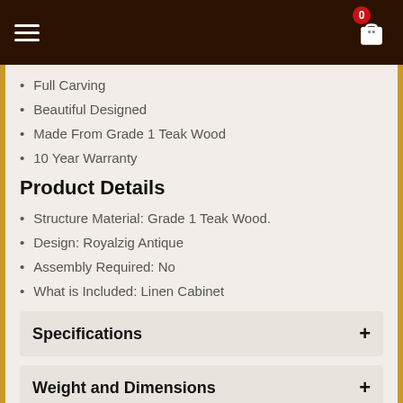Navigation bar with hamburger menu and cart icon (0 items)
Full Carving
Beautiful Designed
Made From Grade 1 Teak Wood
10 Year Warranty
Product Details
Structure Material: Grade 1 Teak Wood.
Design: Royalzig Antique
Assembly Required: No
What is Included: Linen Cabinet
Specifications
Weight and Dimensions
Packing and Delivery